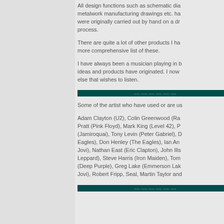All design functions such as schematic dia... metalwork manufacturing drawings etc. ha... were originally carried out by hand on a dra... process.
There are quite a lot of other products I ha... more comprehensive list of these.
I have always been a musician playing in b... ideas and products have originated. I now ... else that wishes to listen.
[Figure (illustration): Decorative dark teal banner/divider with cursive text]
Some of the artist who have used or are us...
Adam Clayton (U2), Colin Greenwood (Ra... Pratt (Pink Floyd), Mark King (Level 42), P... (Jamiroquai), Tony Levin (Peter Gabriel), D... Eagles), Don Henley (The Eagles), Ian An... Jovi), Nathan East (Eric Clapton), John Ills... Leppard), Steve Harris (Iron Maiden), Tom... (Deep Purple), Greg Lake (Emmerson Lak... Jovi), Robert Fripp, Seal, Martin Taylor and...
[Figure (illustration): Decorative dark teal banner/divider with cursive text]